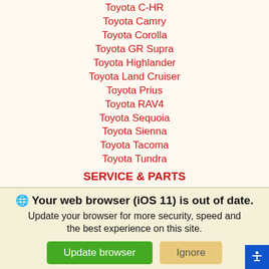Toyota C-HR
Toyota Camry
Toyota Corolla
Toyota GR Supra
Toyota Highlander
Toyota Land Cruiser
Toyota Prius
Toyota RAV4
Toyota Sequoia
Toyota Sienna
Toyota Tacoma
Toyota Tundra
SERVICE & PARTS
Schedule Service
Parts
Safety Recall
Service Campaign
Your web browser (iOS 11) is out of date. Update your browser for more security, speed and the best experience on this site.